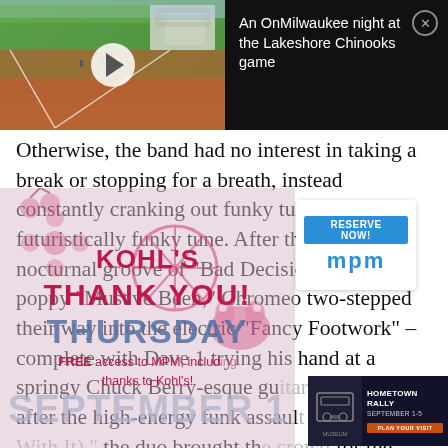[Figure (screenshot): Video thumbnail showing a baseball field (Lakeshore Chinooks game) with a play button overlay on the left, and a dark panel on the right with the title text]
An OnMilwaukee night at the Lakeshore Chinooks game
Otherwise, the band had no interest in taking a break or stopping for a breath, instead constantly cranking out funky tune after futuristically funky tune. After the flirty nocturnal groove of "Bad Decision" and the poppy "Must've Been," Chromeo two-stepped their way into the electric "Fancy Footwork" – complete with Dave 1 trying his hand at a springy Chuck Berry-esque gu[itar]. The after the high-energy funk assaul[t of "Ain't With It")," the duo brought th[e crowd] for the show closer, "Fall Back 2U," leading the [crowd]
[Figure (infographic): Kohl's Thank You Thursday advertisement overlay with pink decorative icons (bicycle, frog, flowers), large text THANK YOU! THURSDAY, subtext FREE access to MPM, including thanks to Kohl's!, and SEPTEMBER 1 in large faded text]
[Figure (infographic): MPM Reserve Now box with blue Reserve Now button and MPM logo]
[Figure (infographic): Harley-Davidson Museum Hometown Rally September 1-5 advertisement with orange Plan Your Visit button]